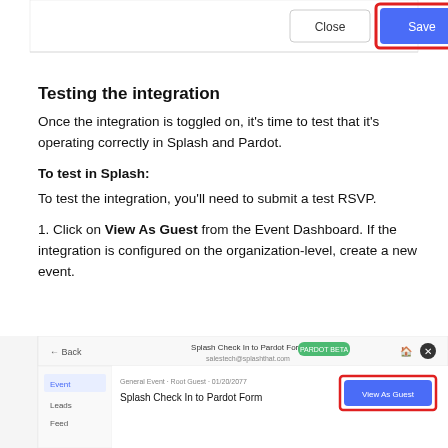[Figure (screenshot): Top portion of a dialog/modal UI showing Close and Save buttons, with Save button highlighted in blue inside a red rectangular border]
Testing the integration
Once the integration is toggled on, it's time to test that it's operating correctly in Splash and Pardot.
To test in Splash:
To test the integration, you'll need to submit a test RSVP.
1. Click on View As Guest from the Event Dashboard. If the integration is configured on the organization-level, create a new event.
[Figure (screenshot): Screenshot of Splash event dashboard showing 'Splash Check In to Pardot Form' with a View As Guest button highlighted by a red border on the right side]